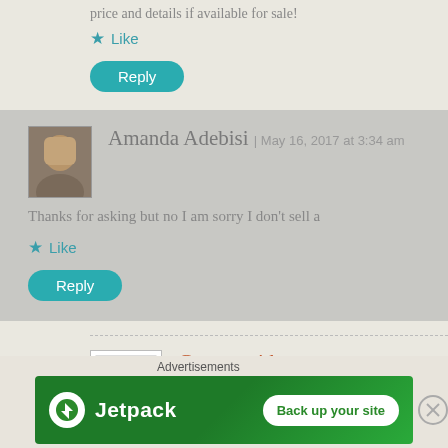price and details if available for sale!
★ Like
Reply
Amanda Adebisi | May 16, 2017 at 3:34 am
Thanks for asking but no I am sorry I don't sell a
★ Like
Reply
Gwen smith | May 15, 2017 at 5:46 pm
I wantbto purchase one
Advertisements
[Figure (logo): Jetpack advertisement banner with green background, Jetpack logo and 'Back up your site' button]